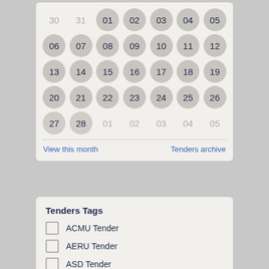[Figure (other): Monthly calendar grid showing days 01-28 as active circles, with 30, 31 (previous month) and 01-05 (next month) shown as inactive text. Days 27 and 28 appear as lighter circles.]
View this month
Tenders archive
Tenders Tags
ACMU Tender
AERU Tender
ASD Tender